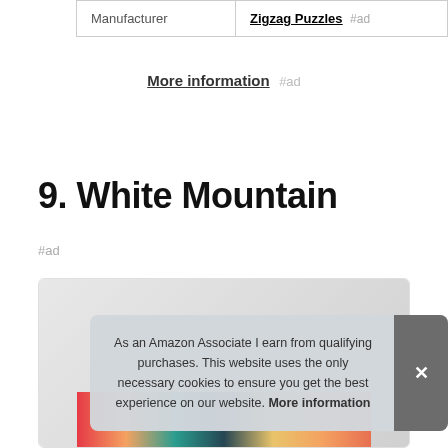| Manufacturer |  |
| --- | --- |
| Manufacturer | Zigzag Puzzles #ad |
More information #ad
9. White Mountain
#ad
[Figure (photo): Product photo of White Mountain puzzle box with colorful collage imagery, partially obscured by cookie consent overlay]
As an Amazon Associate I earn from qualifying purchases. This website uses the only necessary cookies to ensure you get the best experience on our website. More information